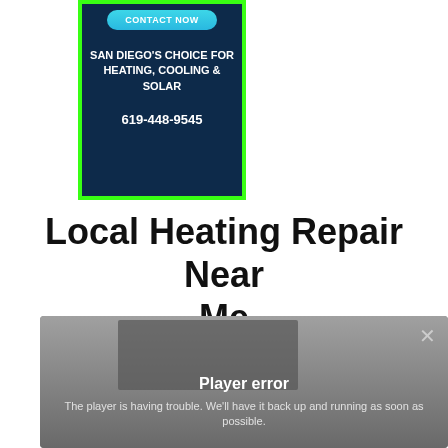[Figure (screenshot): Advertisement box with green border, dark navy background, 'CONTACT NOW' button in teal, text 'SAN DIEGO'S CHOICE FOR HEATING, COOLING & SOLAR', phone number '619-448-9545']
Local Heating Repair Near Me
[Figure (screenshot): Video player with error overlay showing 'Player error' and message 'The player is having trouble. We'll have it back up and running as soon as possible.' with a close (x) button.]